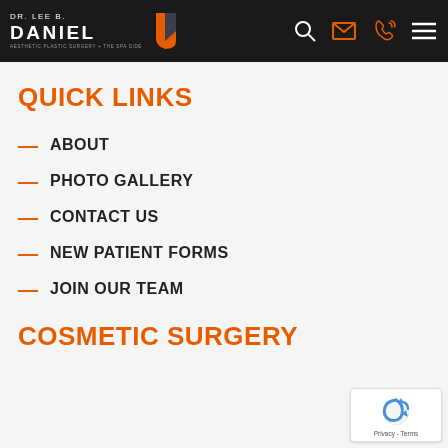DR. LEE B. DANIEL — AESTHETIC PLASTIC SURGERY + THE SPA SIDE
QUICK LINKS
ABOUT
PHOTO GALLERY
CONTACT US
NEW PATIENT FORMS
JOIN OUR TEAM
COSMETIC SURGERY